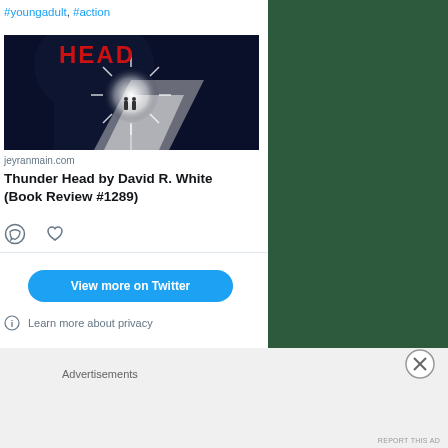#youngadult, #action
[Figure (photo): Book cover for Thunder Head showing a dark silhouette of a head with the word HEAD in red letters and two small figures running toward a bright light]
jeyranmain.com
Thunder Head by David R. White (Book Review #1289)
View more on Twitter
Learn more about privacy
Advertisements